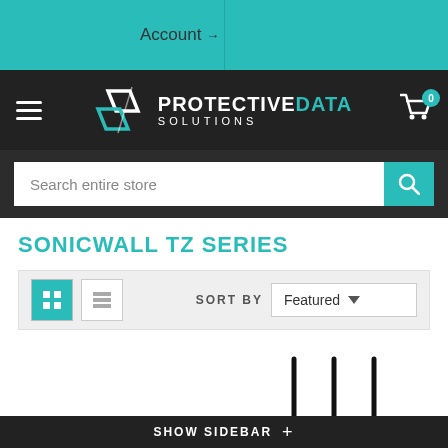Account →
[Figure (logo): Protective Data Solutions logo with teal and white icon and text on dark background]
Search entire store
SONICWALL TZ SERIES
SORT BY  Featured
[Figure (photo): SonicWall TZ series hardware appliance - flat black rack-mountable device]
[Figure (photo): SonicWall wireless router with three antennas]
SHOW SIDEBAR +